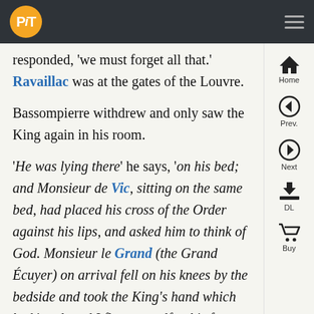PiT logo and navigation bar
responded, 'we must forget all that.' Ravaillac was at the gates of the Louvre.
Bassompierre withdrew and only saw the King again in his room.
'He was lying there' he says, 'on his bed; and Monsieur de Vic, sitting on the same bed, had placed his cross of the Order against his lips, and asked him to think of God. Monsieur le Grand (the Grand Écuyer) on arrival fell on his knees by the bedside and took the King's hand which he kissed, and I flung myself at his feet which I embraced weeping bitterly.'